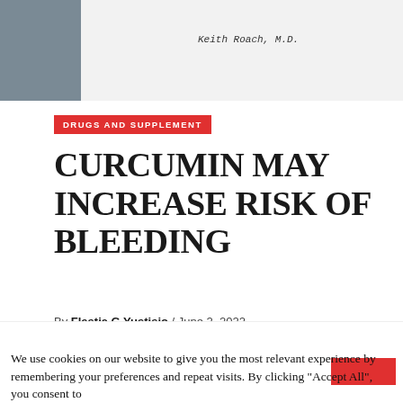[Figure (photo): Photo of a doctor in a white lab coat with a name tag reading 'Keith Roach, M.D.' — torso/neck area visible, background is light gray/white]
DRUGS AND SUPPLEMENT
CURCUMIN MAY INCREASE RISK OF BLEEDING
By Flestia G Yustisio / June 2, 2022
We use cookies on our website to give you the most relevant experience by remembering your preferences and repeat visits. By clicking "Accept All", you consent to